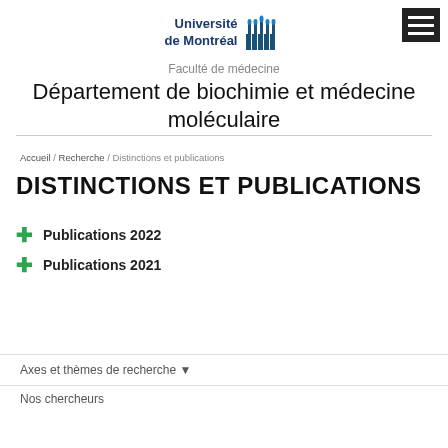[Figure (logo): Université de Montréal logo with blue building icon and text]
Faculté de médecine
Département de biochimie et médecine moléculaire
Accueil / Recherche / Distinctions et publications
DISTINCTIONS ET PUBLICATIONS
Publications 2022
Publications 2021
Axes et thèmes de recherche ▼
Nos chercheurs